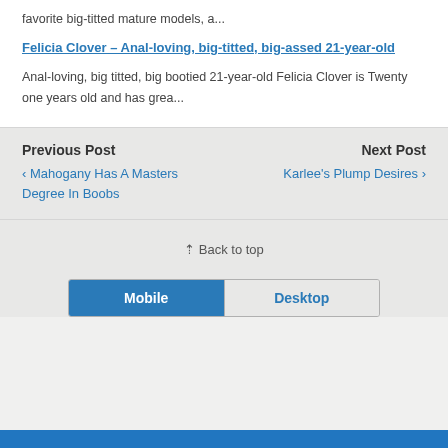favorite big-titted mature models, a...
Felicia Clover – Anal-loving, big-titted, big-assed 21-year-old
Anal-loving, big titted, big bootied 21-year-old Felicia Clover is Twenty one years old and has grea...
Previous Post
‹ Mahogany Has A Masters Degree In Boobs
Next Post
Karlee's Plump Desires ›
⇪ Back to top
Mobile  Desktop